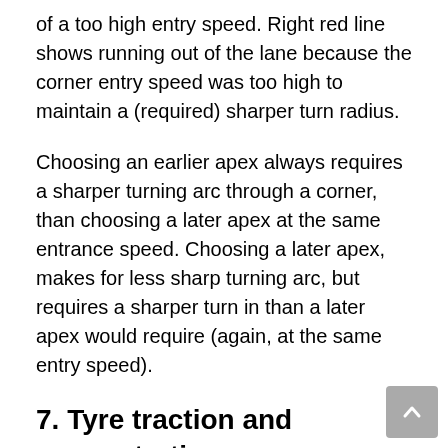of a too high entry speed. Right red line shows running out of the lane because the corner entry speed was too high to maintain a (required) sharper turn radius.
Choosing an earlier apex always requires a sharper turning arc through a corner, than choosing a later apex at the same entrance speed. Choosing a later apex, makes for less sharp turning arc, but requires a sharper turn in than a later apex would require (again, at the same entry speed).
7. Tyre traction and concentration
Tyre traction. On a given pavement a given tyre has a given traction. 🙂 A bad tyre on a slippe pavement will have less available traction than a good tyre on a grippy pavement, but available